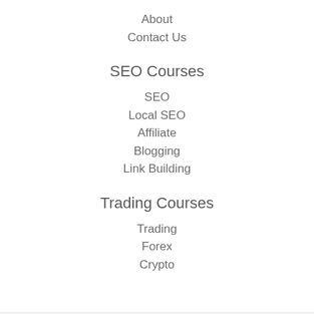About
Contact Us
SEO Courses
SEO
Local SEO
Affiliate
Blogging
Link Building
Trading Courses
Trading
Forex
Crypto